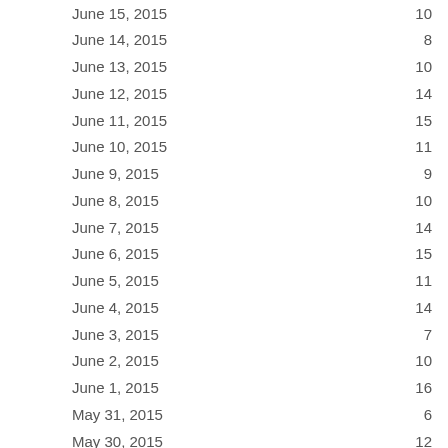| Date | Value |
| --- | --- |
| June 15, 2015 | 10 |
| June 14, 2015 | 8 |
| June 13, 2015 | 10 |
| June 12, 2015 | 14 |
| June 11, 2015 | 15 |
| June 10, 2015 | 11 |
| June 9, 2015 | 9 |
| June 8, 2015 | 10 |
| June 7, 2015 | 14 |
| June 6, 2015 | 15 |
| June 5, 2015 | 11 |
| June 4, 2015 | 14 |
| June 3, 2015 | 7 |
| June 2, 2015 | 10 |
| June 1, 2015 | 16 |
| May 31, 2015 | 6 |
| May 30, 2015 | 12 |
| May 29, 2015 | 9 |
| May 28, 2015 | 11 |
| May 27, 2015 | 11 |
| May 26, 2015 | 11 |
| May 25, 2015 | 4 |
| May 24, 2015 | 6 |